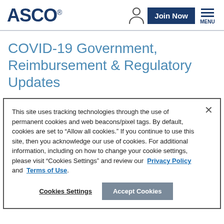ASCO | Join Now | MENU
COVID-19 Government, Reimbursement & Regulatory Updates
This site uses tracking technologies through the use of permanent cookies and web beacons/pixel tags. By default, cookies are set to “Allow all cookies.” If you continue to use this site, then you acknowledge our use of cookies. For additional information, including on how to change your cookie settings, please visit “Cookies Settings” and review our Privacy Policy and Terms of Use.
Cookies Settings | Accept Cookies